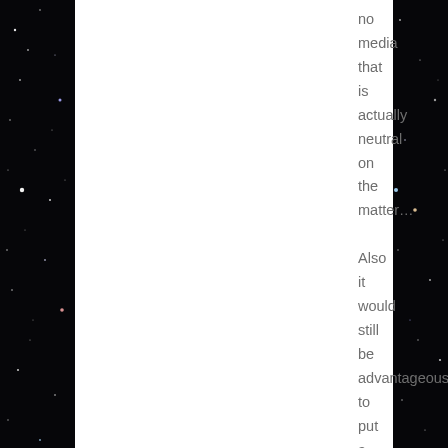[Figure (photo): Dark starfield background image with a white rectangular area on the left-center portion of the page. Stars are visible in the dark regions on the left and right sides.]
no media that is actually neutral on the matter…

Also it would still be advantageous to put a webcam near kapoho